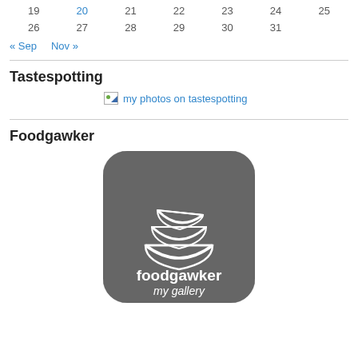| 19 | 20 | 21 | 22 | 23 | 24 | 25 |
| 26 | 27 | 28 | 29 | 30 | 31 |  |
« Sep   Nov »
Tastespotting
[Figure (other): Broken image link reading 'my photos on tastespotting']
Foodgawker
[Figure (logo): Foodgawker my gallery badge - dark grey rounded square with stacked white bowls icon and text 'foodgawker my gallery']